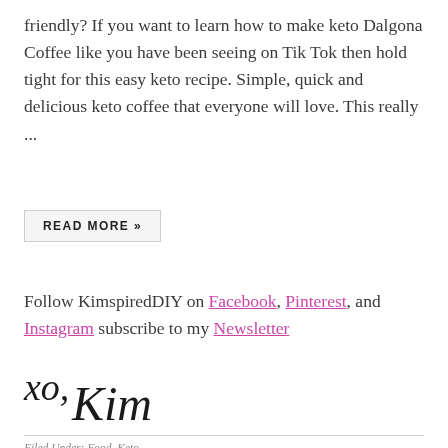friendly? If you want to learn how to make keto Dalgona Coffee like you have been seeing on Tik Tok then hold tight for this easy keto recipe. Simple, quick and delicious keto coffee that everyone will love. This really ...
READ MORE »
Follow KimspiredDIY on Facebook, Pinterest, and Instagram subscribe to my Newsletter
[Figure (illustration): Handwritten cursive signature reading 'xo, Kim']
Filed Under: Food, Keto
Tagged With: 3 ingredient keto coffee, best keto coffee, best keto dalgona coffee, best keto whipped coffee, easy keto coffee, easy keto whipped coffee, keto coffee